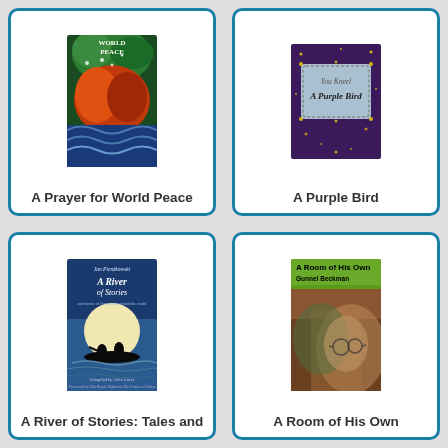[Figure (illustration): Book cover for 'A Prayer for World Peace' showing colorful abstract art with greens, reds and blues]
A Prayer for World Peace
[Figure (illustration): Book cover for 'A Purple Bird' showing dark purple background with a decorative label reading 'You Kneel A Purple Bird']
A Purple Bird
[Figure (illustration): Book cover for 'A River of Stories: Tales and...' showing blue background with silhouettes in a boat against a full moon]
A River of Stories: Tales and
[Figure (illustration): Book cover for 'A Room of His Own' by Gunnel Beckman showing green header with painted portrait]
A Room of His Own